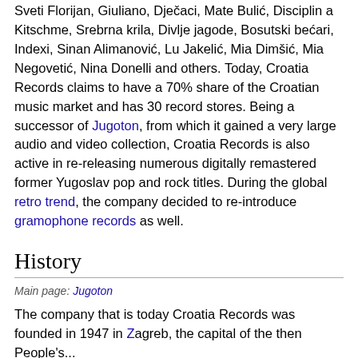Sveti Florijan, Giuliano, Dječaci, Mate Bulić, Disciplin a Kitschme, Srebrna krila, Divlje jagode, Bosutski bećari, Indexi, Sinan Alimanović, Lu Jakelić, Mia Dimšić, Mia Negovetić, Nina Donelli and others. Today, Croatia Records claims to have a 70% share of the Croatian music market and has 30 record stores. Being a successor of Jugoton, from which it gained a very large audio and video collection, Croatia Records is also active in re-releasing numerous digitally remastered former Yugoslav pop and rock titles. During the global retro trend, the company decided to re-introduce gramophone records as well.
History
Main page: Jugoton
The company that is today Croatia Records was founded in 1947 in Zagreb, the capital of the then People's...